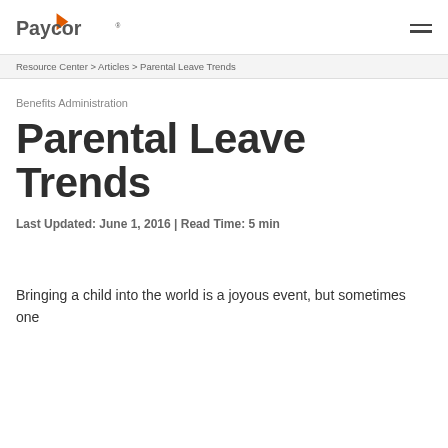Paycor (logo)
Resource Center > Articles > Parental Leave Trends
Benefits Administration
Parental Leave Trends
Last Updated: June 1, 2016 | Read Time: 5 min
Bringing a child into the world is a joyous event, but sometimes one